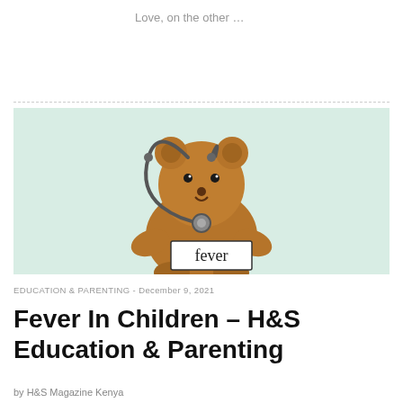Love, on the other …
[Figure (photo): A brown teddy bear with a stethoscope around its neck, holding a white card that reads 'fever', against a light green/white background.]
EDUCATION & PARENTING  -  December 9, 2021
Fever In Children – H&S Education & Parenting
by H&S Magazine Kenya